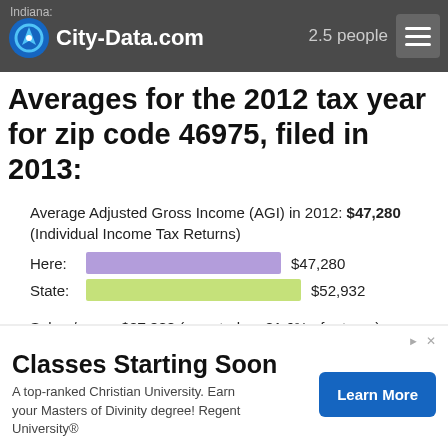City-Data.com | Indiana: 2.5 people
Averages for the 2012 tax year for zip code 46975, filed in 2013:
Average Adjusted Gross Income (AGI) in 2012: $47,280 (Individual Income Tax Returns)
Here: $47,280
State: $52,932
Salary/wage: $37,923 (reported on 81.6% of returns)
Here: $37,923
State: $45,173
% of AGI for various income ranges: 71.8% for AGIs below $25k; 80.5% for AGIs $25k-50k
Classes Starting Soon
A top-ranked Christian University. Earn your Masters of Divinity degree! Regent University®
Learn More